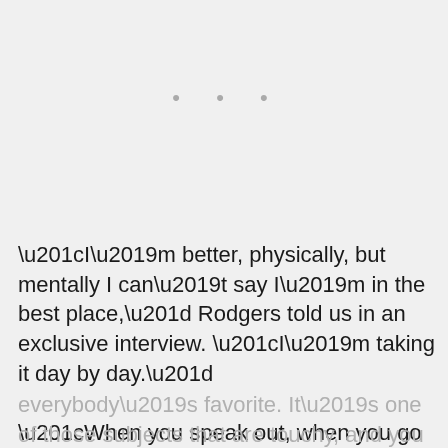[Figure (other): Three gray dots indicating a loading or continuation indicator]
“I’m better, physically, but mentally I can’t say I’m in the best place,” Rodgers told us in an exclusive interview. “I’m taking it day by day.”
“When you speak out, when you go up against someone like Robert Kelly, what do you expect?” she added. “This is [CLOSE button] everybody’s favorite. It’s one of those subjects that are touchy, and you never know how you’ll be impacted by